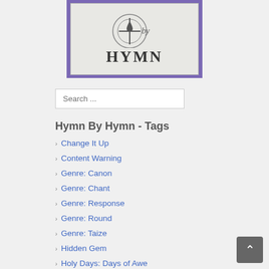[Figure (logo): Hymn By Hymn logo with purple border, gray textured background, chalice/candle symbol, text 'by' and 'HYMN']
Search ...
Hymn By Hymn - Tags
Change It Up
Content Warning
Genre: Canon
Genre: Chant
Genre: Response
Genre: Round
Genre: Taize
Hidden Gem
Holy Days: Days of Awe
Holy Days: Easter
Holy Days: Palm Sunday
Holy Days: Pentecost